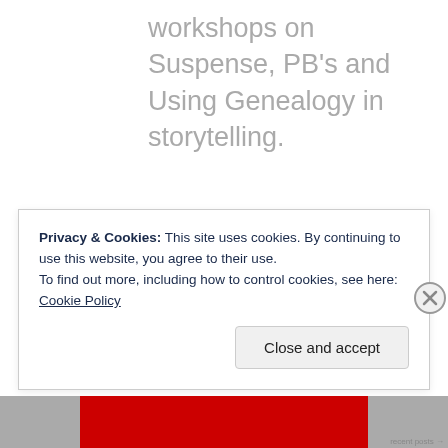workshops on Suspense, PB's and Using Genealogy in storytelling.
Privacy & Cookies: This site uses cookies. By continuing to use this website, you agree to their use.
To find out more, including how to control cookies, see here: Cookie Policy